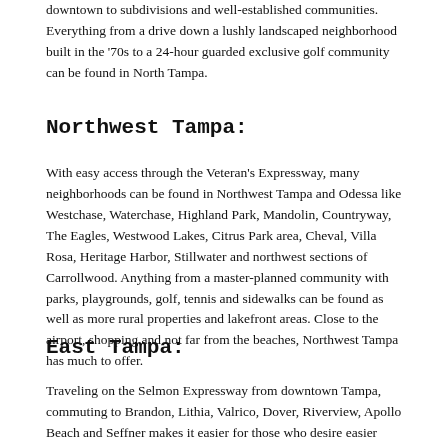downtown to subdivisions and well-established communities. Everything from a drive down a lushly landscaped neighborhood built in the '70s to a 24-hour guarded exclusive golf community can be found in North Tampa.
Northwest Tampa:
With easy access through the Veteran's Expressway, many neighborhoods can be found in Northwest Tampa and Odessa like Westchase, Waterchase, Highland Park, Mandolin, Countryway, The Eagles, Westwood Lakes, Citrus Park area, Cheval, Villa Rosa, Heritage Harbor, Stillwater and northwest sections of Carrollwood. Anything from a master-planned community with parks, playgrounds, golf, tennis and sidewalks can be found as well as more rural properties and lakefront areas. Close to the airport, shopping and not far from the beaches, Northwest Tampa has much to offer.
East Tampa:
Traveling on the Selmon Expressway from downtown Tampa, commuting to Brandon, Lithia, Valrico, Dover, Riverview, Apollo Beach and Seffner makes it easier for those who desire easier access to I-75 or for military families traveling to MacDill. Plenty of shopping and old Florida communities are